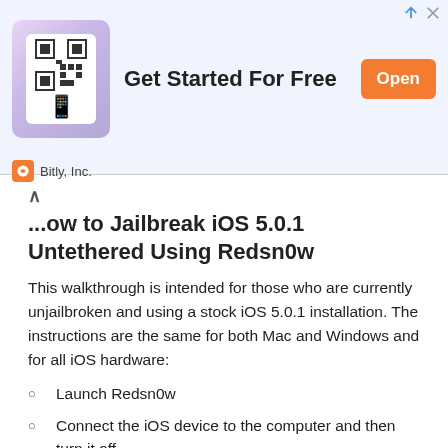[Figure (screenshot): Bitly Inc. advertisement banner with QR code image, 'Get Started For Free' headline, orange Open button, and Bitly logo]
How to Jailbreak iOS 5.0.1 Untethered Using Redsn0w
This walkthrough is intended for those who are currently unjailbroken and using a stock iOS 5.0.1 installation. The instructions are the same for both Mac and Windows and for all iOS hardware:
Launch Redsn0w
Connect the iOS device to the computer and then turn it off
Launch Redsn0w and click on “Jailbreak”
Put your iPhone, iPad, or iPod touch into DFU mode: Hold the power button for 2 seconds